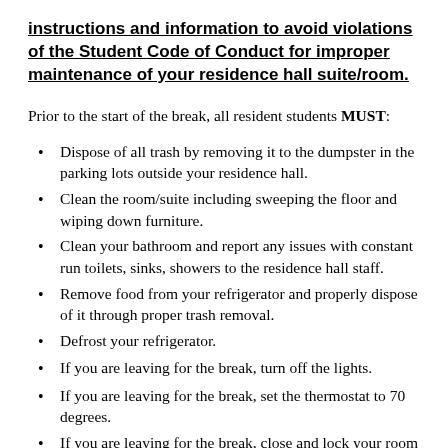instructions and information to avoid violations of the Student Code of Conduct for improper maintenance of your residence hall suite/room.
Prior to the start of the break, all resident students MUST:
Dispose of all trash by removing it to the dumpster in the parking lots outside your residence hall.
Clean the room/suite including sweeping the floor and wiping down furniture.
Clean your bathroom and report any issues with constant run toilets, sinks, showers to the residence hall staff.
Remove food from your refrigerator and properly dispose of it through proper trash removal.
Defrost your refrigerator.
If you are leaving for the break, turn off the lights.
If you are leaving for the break, set the thermostat to 70 degrees.
If you are leaving for the break, close and lock your room